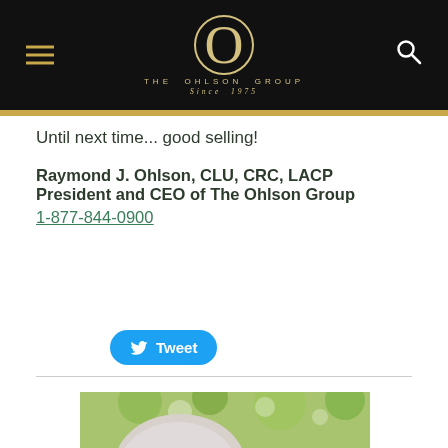THE OHLSON GROUP Since 1975
Until next time... good selling!
Raymond J. Ohlson, CLU, CRC, LACP
President and CEO of The Ohlson Group
1-877-844-0900
[Figure (other): Blue Tweet button with Twitter bird icon]
[Figure (photo): Partial photo of a person outdoors with green foliage background]